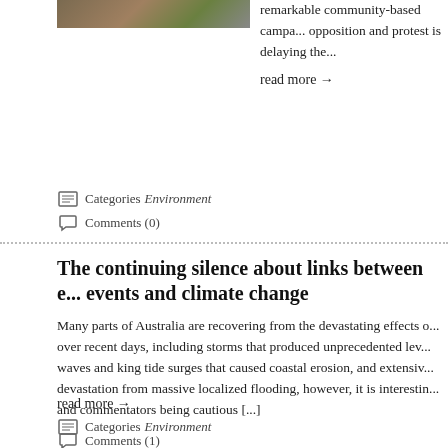[Figure (photo): Small thumbnail photo, partially cropped at top]
remarkable community-based campa... opposition and protest is delaying the...
read more →
Categories Environment
Comments (0)
The continuing silence about links between e... events and climate change
Many parts of Australia are recovering from the devastating effects o... over recent days, including storms that produced unprecedented lev... waves and king tide surges that caused coastal erosion, and extensiv... devastation from massive localized flooding, however, it is interestin... and commentators being cautious [...]
read more →
Categories Environment
Comments (1)